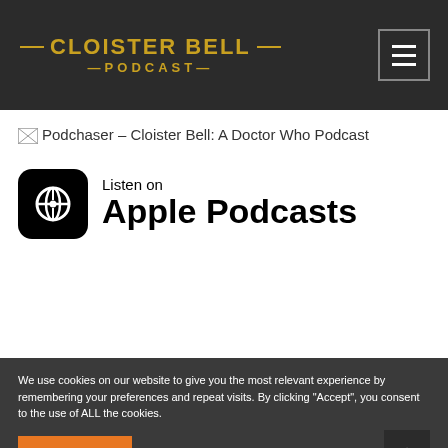CLOISTER BELL PODCAST
[Figure (screenshot): Broken image placeholder with alt text: Podchaser - Cloister Bell: A Doctor Who Podcast]
[Figure (logo): Listen on Apple Podcasts badge with Apple Podcasts icon and text]
We use cookies on our website to give you the most relevant experience by remembering your preferences and repeat visits. By clicking “Accept”, you consent to the use of ALL the cookies.